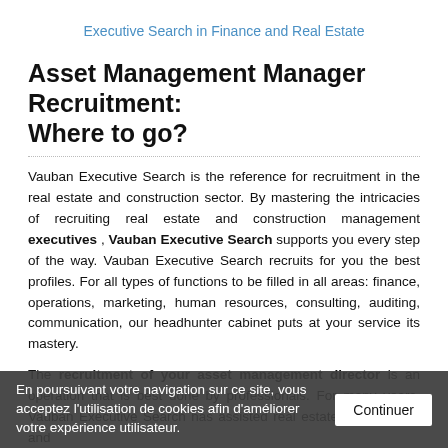Executive Search in Finance and Real Estate
Asset Management Manager Recruitment: Where to go?
Vauban Executive Search is the reference for recruitment in the real estate and construction sector. By mastering the intricacies of recruiting real estate and construction management executives , Vauban Executive Search supports you every step of the way. Vauban Executive Search recruits for you the best profiles. For all types of functions to be filled in all areas: finance, operations, marketing, human resources, consulting, auditing, communication, our headhunter cabinet puts at your service its mastery.
The recruitment of your asset management director is an operation that is best done by professionals. For many years, Vauban Executive Search has assisted real estate, construction and investment companies in these tasks, and has built up and executives.
Applying to a Executive search: the benefits
En poursuivant votre navigation sur ce site, vous acceptez l'utilisation de cookies afin d'améliorer votre expérience utilisateur.